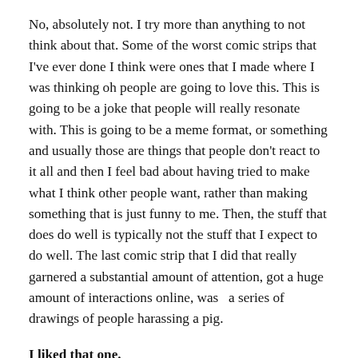No, absolutely not. I try more than anything to not think about that. Some of the worst comic strips that I've ever done I think were ones that I made where I was thinking oh people are going to love this. This is going to be a joke that people will really resonate with. This is going to be a meme format, or something and usually those are things that people don't react to it all and then I feel bad about having tried to make what I think other people want, rather than making something that is just funny to me. Then, the stuff that does do well is typically not the stuff that I expect to do well. The last comic strip that I did that really garnered a substantial amount of attention, got a huge amount of interactions online, was  a series of drawings of people harassing a pig.
I liked that one.